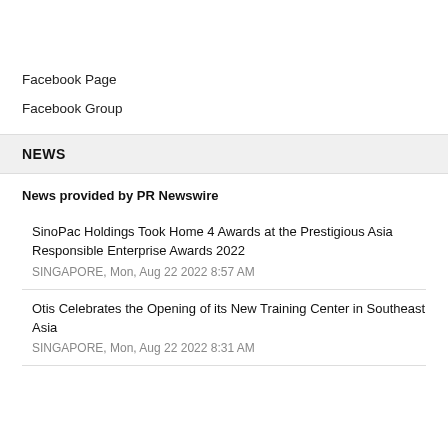Facebook Page
Facebook Group
NEWS
News provided by PR Newswire
SinoPac Holdings Took Home 4 Awards at the Prestigious Asia Responsible Enterprise Awards 2022
SINGAPORE, Mon, Aug 22 2022 8:57 AM
Otis Celebrates the Opening of its New Training Center in Southeast Asia
SINGAPORE, Mon, Aug 22 2022 8:31 AM